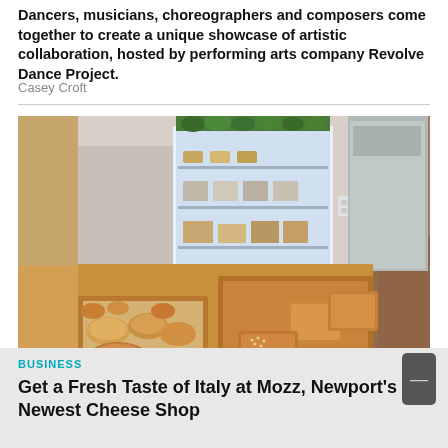Dancers, musicians, choreographers and composers come together to create a unique showcase of artistic collaboration, hosted by performing arts company Revolve Dance Project.
Casey Croft
[Figure (photo): Interior of a bakery or food shop counter with various pastries and baked goods arranged on wooden boards and parchment paper. The background shows a refrigerated display case with shelves of products and stainless steel equipment.]
BUSINESS
Get a Fresh Taste of Italy at Mozz, Newport's Newest Cheese Shop